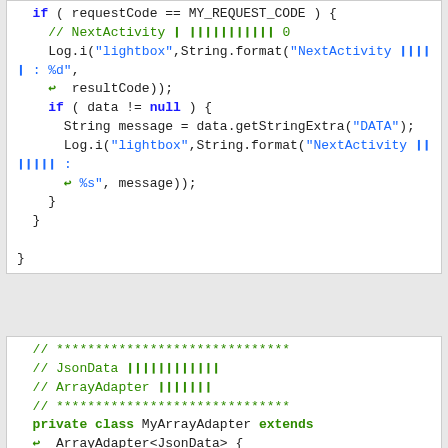Code block showing Java/Android code with if (requestCode == MY_REQUEST_CODE), Log.i statements, nested if (data != null) block with String message, closing braces, comment block with asterisks, JsonData and ArrayAdapter comments, private class MyArrayAdapter extends ArrayAdapter<JsonData>, private int mResource, public MyArrayAdapter(Context context, int resource) {